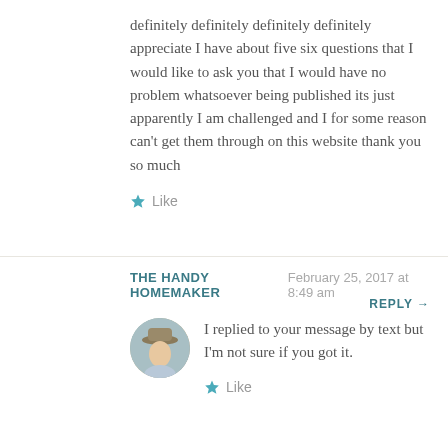definitely definitely definitely definitely appreciate I have about five six questions that I would like to ask you that I would have no problem whatsoever being published its just apparently I am challenged and I for some reason can’t get them through on this website thank you so much
★ Like
THE HANDY HOMEMAKER   February 25, 2017 at 8:49 am
REPLY →
[Figure (photo): Circular avatar photo of a woman wearing a hat]
I replied to your message by text but I’m not sure if you got it.
★ Like